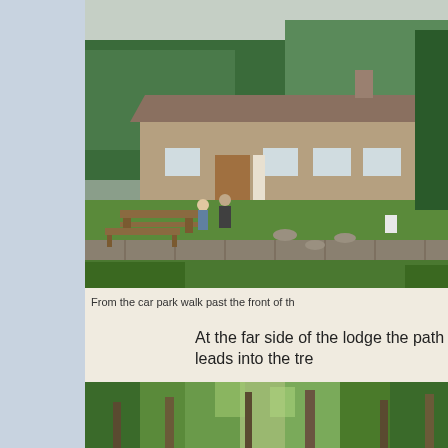[Figure (photo): A stone lodge building with a pitched roof, set in a green grassy area surrounded by trees. Two people stand near wooden picnic benches in front of the building. A low stone wall runs along the foreground.]
From the car park walk past the front of th
At the far side of the lodge the path leads into the tre
[Figure (photo): A wooded forest path with dense green trees and tall conifers, suggesting a forest trail.]